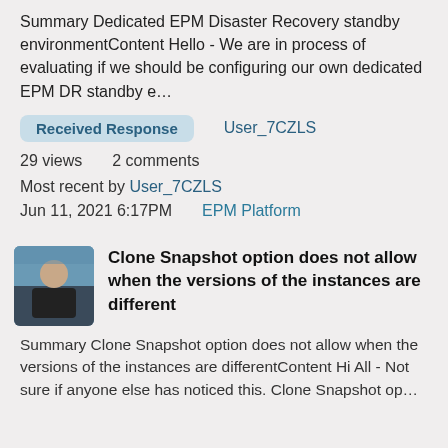Summary Dedicated EPM Disaster Recovery standby environmentContent Hello - We are in process of evaluating if we should be configuring our own dedicated EPM DR standby e…
Received Response   User_7CZLS
29 views   2 comments
Most recent by User_7CZLS
Jun 11, 2021 6:17PM   EPM Platform
Clone Snapshot option does not allow when the versions of the instances are different
Summary Clone Snapshot option does not allow when the versions of the instances are differentContent Hi All - Not sure if anyone else has noticed this. Clone Snapshot op…